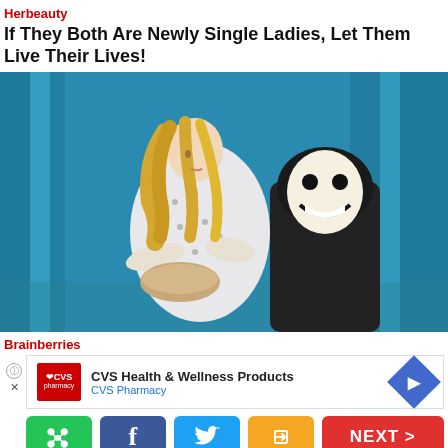Herbeauty
If They Both Are Newly Single Ladies, Let Them Live Their Lives!
[Figure (photo): Scene from a horror movie showing a blonde woman in a hospital gown holding a tray, with a masked figure in a black hoodie behind her, set against blue curtains.]
Brainberries
[Figure (other): CVS Health & Wellness Products advertisement with CVS Pharmacy logo and a blue navigation arrow icon.]